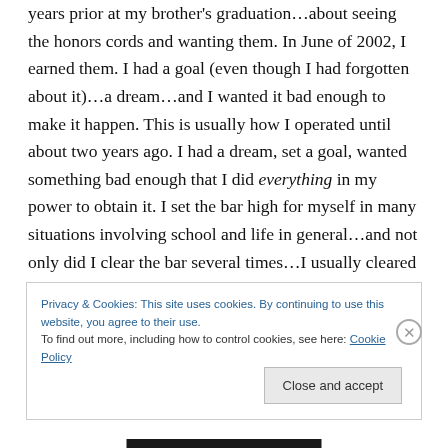years prior at my brother's graduation…about seeing the honors cords and wanting them. In June of 2002, I earned them. I had a goal (even though I had forgotten about it)…a dream…and I wanted it bad enough to make it happen. This is usually how I operated until about two years ago. I had a dream, set a goal, wanted something bad enough that I did everything in my power to obtain it. I set the bar high for myself in many situations involving school and life in general…and not only did I clear the bar several times…I usually cleared it by several feet…above and beyond the minimum effort needed to reach that goal or
Privacy & Cookies: This site uses cookies. By continuing to use this website, you agree to their use.
To find out more, including how to control cookies, see here: Cookie Policy
Close and accept